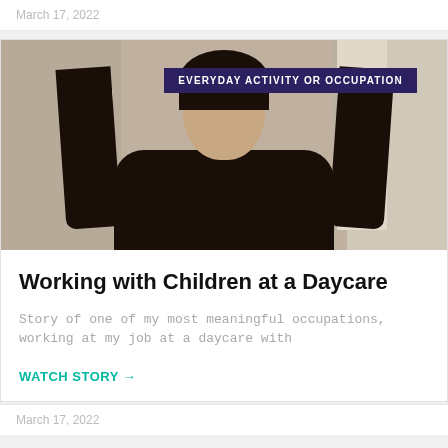March 17, 2022
[Figure (photo): Video thumbnail showing a young woman with long dark hair against a beige wall background, with a dark navy badge reading EVERYDAY ACTIVITY OR OCCUPATION overlaid in the upper right]
Working with Children at a Daycare
Story of one of my most meaningful occupations, working at my job at a daycare with
WATCH STORY →
March 17, 2022